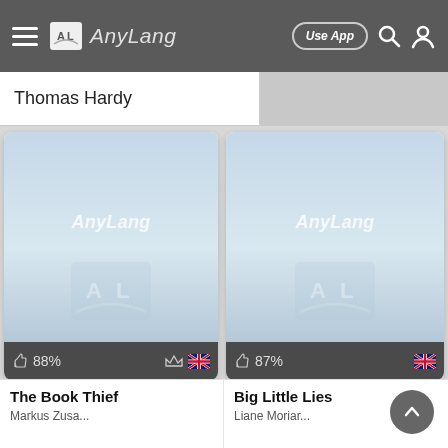AnyLang — Use App
Thomas Hardy
[Figure (screenshot): AnyLang book cover placeholder — left card showing generic AnyLang logo watermark on light blue gradient background, footer showing thumbs up 88%, crown icon, and UK flag]
[Figure (screenshot): AnyLang book cover placeholder — right card showing generic AnyLang logo watermark on light blue gradient background, footer showing thumbs up 87%, and UK flag]
The Book Thief
Big Little Lies